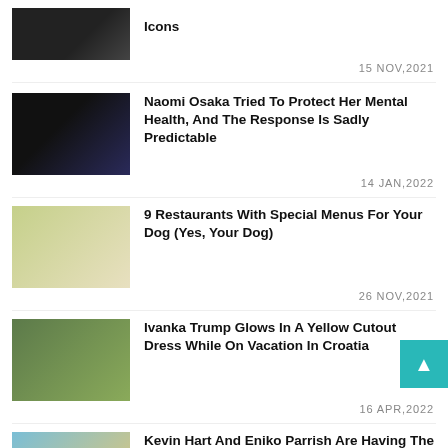Icons
15 NOV,2021
Naomi Osaka Tried To Protect Her Mental Health, And The Response Is Sadly Predictable
14 JAN,2022
9 Restaurants With Special Menus For Your Dog (Yes, Your Dog)
26 NOV,2021
Ivanka Trump Glows In A Yellow Cutout Dress While On Vacation In Croatia
16 APR,2022
Kevin Hart And Eniko Parrish Are Having The Sexiest Honeymoon Ever
03 MAY,2022
See Kim Kardashian'S Changing Looks—Plus Try On Her Best Hairstyles